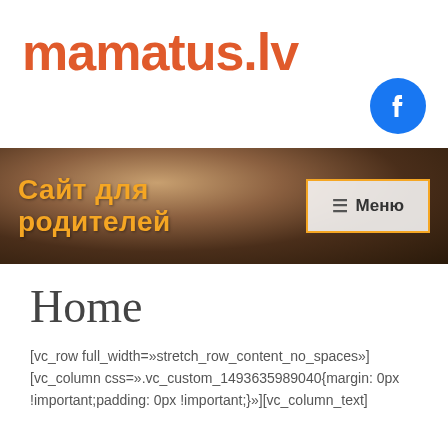[Figure (logo): mamatus.lv logo in orange-red cursive font with a Facebook circle icon on the right]
[Figure (photo): Hero banner with close-up photo of a child's face as background, with orange bold text 'Сайт для родителей' on the left and a menu button on the right]
Home
[vc_row full_width=»stretch_row_content_no_spaces»][vc_column css=».vc_custom_1493635989040{margin: 0px !important;padding: 0px !important;}»][vc_column_text]